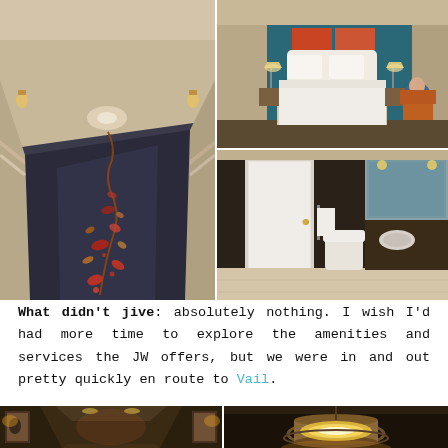[Figure (photo): Hotel corridor with patterned carpet featuring red and orange floral motif, cream walls with chair rail molding, warm lighting]
[Figure (photo): Hotel bedroom with teal accent wall, white upholstered headboard, white bedding, person sitting in chair, warm lamps]
[Figure (photo): Hotel bathroom with dark patterned wallpaper, white door, toilet, glass shower, marble vanity with double sinks]
What didn't jive: absolutely nothing. I wish I'd had more time to explore the amenities and services the JW offers, but we were in and out pretty quickly en route to Vail.
[Figure (photo): Hotel lobby or hallway with warm ambient lighting, dark walls, recessed ceiling lights]
[Figure (photo): Decorative pendant light fixture with cylindrical shade, warm golden glow]